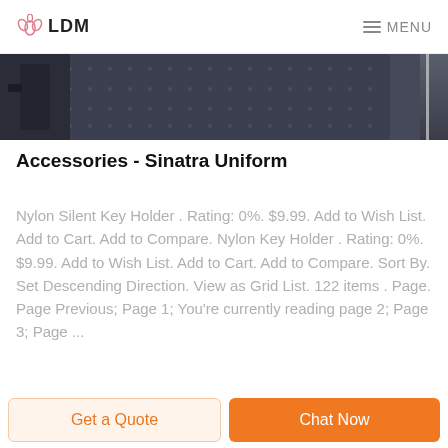LDM   MENU
[Figure (photo): Close-up photo of a dark navy/black nylon bag or case, showing mesh fabric texture with black zippers and straps. A vertical gray line divides the right edge of the image.]
Accessories - Sinatra Uniform
Nylon Silent Key Holder . Rating: 0%. $9.99. Add to Wish List. Add to Cart. Add to Compare. Nylon Key Holder . Rating: 0%. $9.99. Add to Wish List. Add to Cart. Add to Compare. Sort By. Set Descending Direction. View as Grid List. 122 items . Page. Page Previous; Page 1; You're currently reading page 2; Page 3; Page ...
Get a Quote
Chat Now